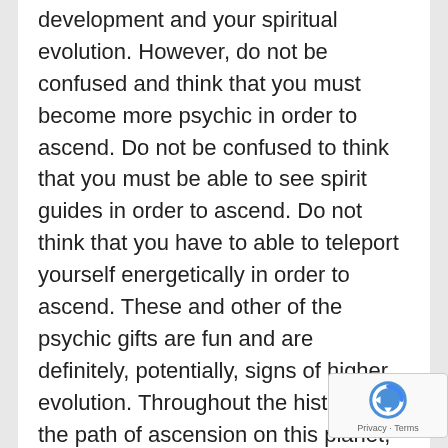development and your spiritual evolution. However, do not be confused and think that you must become more psychic in order to ascend. Do not be confused to think that you must be able to see spirit guides in order to ascend. Do not think that you have to able to teleport yourself energetically in order to ascend. These and other of the psychic gifts are fun and are definitely, potentially, signs of higher evolution. Throughout the history of the path of ascension on this planet, there have been various experiences by teachers and prophets. Those people who attained the higher psychic gifts did not necessarily